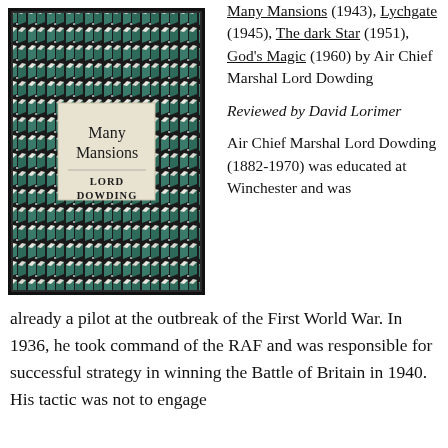[Figure (illustration): Book cover of 'Many Mansions' by Lord Dowding, featuring a dark teal/black geometric repeating pattern background with a cream/beige label in the center displaying the title 'Many Mansions' and author 'LORD DOWDING'.]
Many Mansions (1943), Lychgate (1945), The dark Star (1951), God's Magic (1960) by Air Chief Marshal Lord Dowding
Reviewed by David Lorimer
Air Chief Marshal Lord Dowding (1882-1970) was educated at Winchester and was already a pilot at the outbreak of the First World War. In 1936, he took command of the RAF and was responsible for successful strategy in winning the Battle of Britain in 1940. His tactic was not to engage